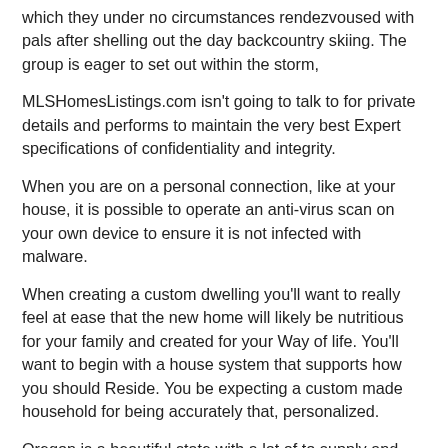which they under no circumstances rendezvoused with pals after shelling out the day backcountry skiing. The group is eager to set out within the storm,
MLSHomesListings.com isn't going to talk to for private details and performs to maintain the very best Expert specifications of confidentiality and integrity.
When you are on a personal connection, like at your house, it is possible to operate an anti-virus scan on your own device to ensure it is not infected with malware.
When creating a custom dwelling you'll want to really feel at ease that the new home will likely be nutritious for your family and created for your Way of life. You'll want to begin with a house system that supports how you should Reside. You be expecting a custom made household for being accurately that, personalized.
Oregon is a beautiful state with a lot of to supply and traveling to Bend is one of the better strategies to soak all of it in. As well as, Bend is near more than enough to a few of the other major cities in Oregon that you still have the chance to head back again into …